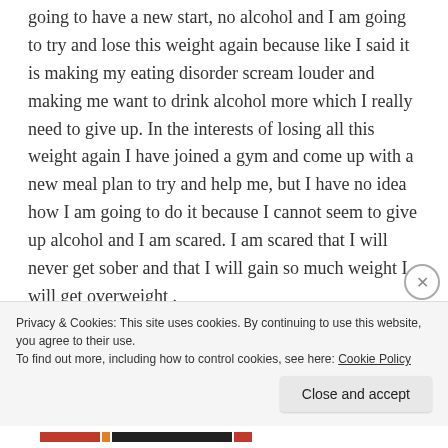going to have a new start, no alcohol and I am going to try and lose this weight again because like I said it is making my eating disorder scream louder and making me want to drink alcohol more which I really need to give up. In the interests of losing all this weight again I have joined a gym and come up with a new meal plan to try and help me, but I have no idea how I am going to do it because I cannot seem to give up alcohol and I am scared. I am scared that I will never get sober and that I will gain so much weight I will get overweight . I guess here is where I should probably take a moment
Privacy & Cookies: This site uses cookies. By continuing to use this website, you agree to their use.
To find out more, including how to control cookies, see here: Cookie Policy